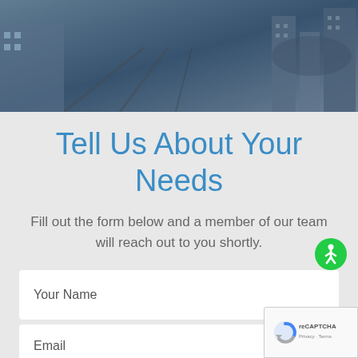[Figure (photo): Hero banner image showing an urban street scene with railway/road crossing, partially obscured by overlapping hands suggesting transportation or infrastructure services. Dark blue-grey tones.]
Tell Us About Your Needs
[Figure (other): Green circular accessibility icon (wheelchair symbol) positioned to the right side of the page]
Fill out the form below and a member of our team will reach out to you shortly.
Your Name
Email
[Figure (other): Google reCAPTCHA badge in bottom right corner showing reCAPTCHA logo with Privacy - Terms text]